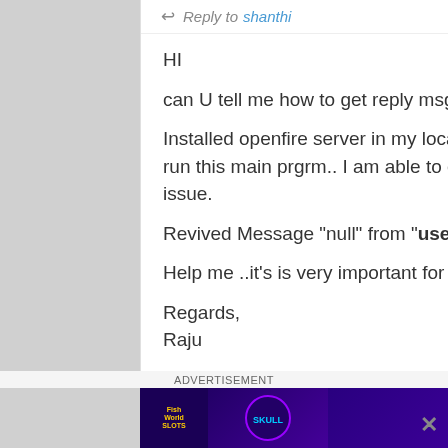Reply to shanthi
HI
can U tell me how to get reply msg using this same code.
Installed openfire server in my local Machine, and I am using same code. when I run this main prgrm.. I am able to connect to server well but I am getting below issue.
Revived Message "null" from "user1@wongwong.com"
Help me ..it's is very important for me.
Regards,
Raju
ADVERTISEMENT
[Figure (screenshot): Game advertisement banner: NEW HALL IN OCEAN KING 2]